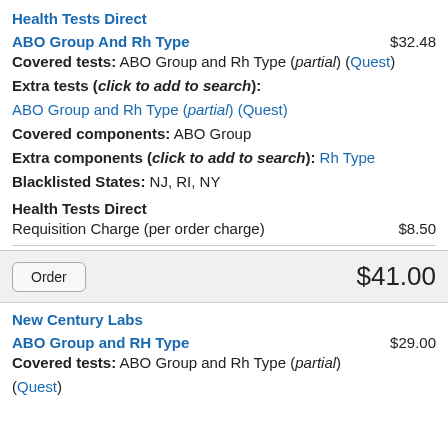Health Tests Direct
ABO Group And Rh Type   $32.48
Covered tests: ABO Group and Rh Type (partial) (Quest)
Extra tests (click to add to search):
ABO Group and Rh Type (partial) (Quest)
Covered components: ABO Group
Extra components (click to add to search): Rh Type
Blacklisted States: NJ, RI, NY
Health Tests Direct
Requisition Charge (per order charge)   $8.50
Order   $41.00
New Century Labs
ABO Group and RH Type   $29.00
Covered tests: ABO Group and Rh Type (partial)
(Quest)